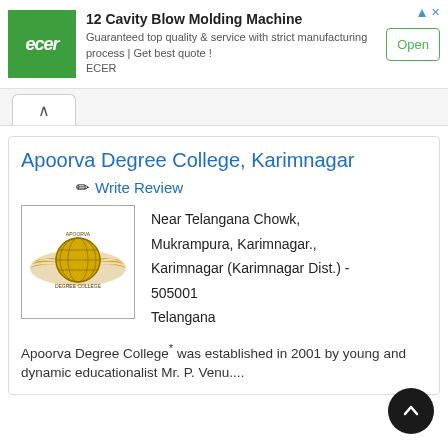[Figure (screenshot): Advertisement banner for ECER 12 Cavity Blow Molding Machine with green logo, ad text, and Open button]
Apoorva Degree College, Karimnagar
✏ Write Review
[Figure (logo): Apoorva Degree College logo — gold eagle wings with globe emblem]
Near Telangana Chowk, Mukrampura, Karimnagar., Karimnagar (Karimnagar Dist.) - 505001
Telangana
Apoorva Degree College* was established in 2001 by young and dynamic educationalist Mr. P. Venu....